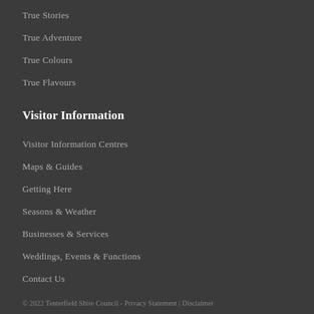True Stories
True Adventure
True Colours
True Flavours
Visitor Information
Visitor Information Centres
Maps & Guides
Getting Here
Seasons & Weather
Businesses & Services
Weddings, Events & Functions
Contact Us
© 2022 Tenterfield Shire Council  -  Privacy Statement | Disclaimer